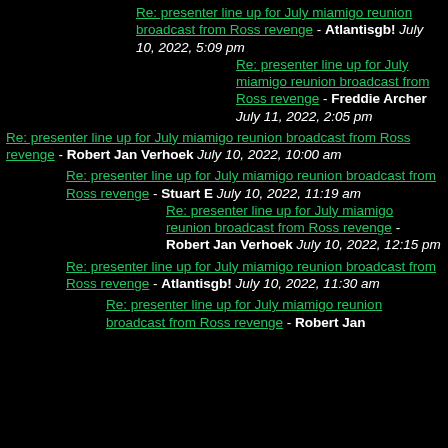Re: presenter line up for July miamigo reunion broadcast from Ross revenge - Atlantisgb! July 10, 2022, 5:09 pm
Re: presenter line up for July miamigo reunion broadcast from Ross revenge - Freddie Archer July 11, 2022, 2:05 pm
Re: presenter line up for July miamigo reunion broadcast from Ross revenge - Robert Jan Verhoek July 10, 2022, 10:00 am
Re: presenter line up for July miamigo reunion broadcast from Ross revenge - Stuart E July 10, 2022, 11:19 am
Re: presenter line up for July miamigo reunion broadcast from Ross revenge - Robert Jan Verhoek July 10, 2022, 12:15 pm
Re: presenter line up for July miamigo reunion broadcast from Ross revenge - Atlantisgb! July 10, 2022, 11:30 am
Re: presenter line up for July miamigo reunion broadcast from Ross revenge - Robert Jan